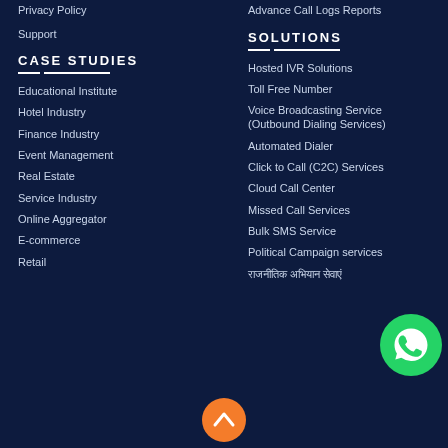Privacy Policy
Support
CASE STUDIES
Educational Institute
Hotel Industry
Finance Industry
Event Management
Real Estate
Service Industry
Online Aggregator
E-commerce
Retail
Advance Call Logs Reports
SOLUTIONS
Hosted IVR Solutions
Toll Free Number
Voice Broadcasting Service (Outbound Dialing Services)
Automated Dialer
Click to Call (C2C) Services
Cloud Call Center
Missed Call Services
Bulk SMS Service
Political Campaign services
राजनीतिक अभियान सेवाएं
[Figure (logo): WhatsApp contact button - green circle with WhatsApp logo]
[Figure (other): Orange scroll-to-top button with up arrow]